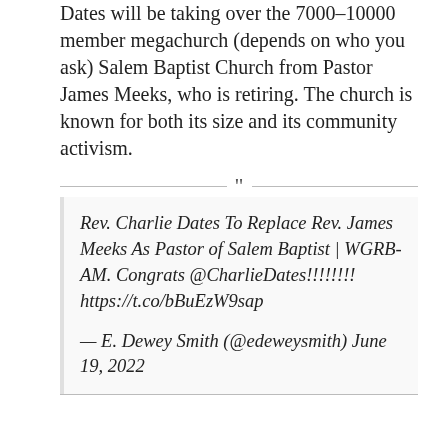Dates will be taking over the 7000-10000 member megachurch (depends on who you ask) Salem Baptist Church from Pastor James Meeks, who is retiring. The church is known for both its size and its community activism.
Rev. Charlie Dates To Replace Rev. James Meeks As Pastor of Salem Baptist | WGRB-AM. Congrats @CharlieDates!!!!!!!! https://t.co/bBuEzW9sap
— E. Dewey Smith (@edeweysmith) June 19, 2022